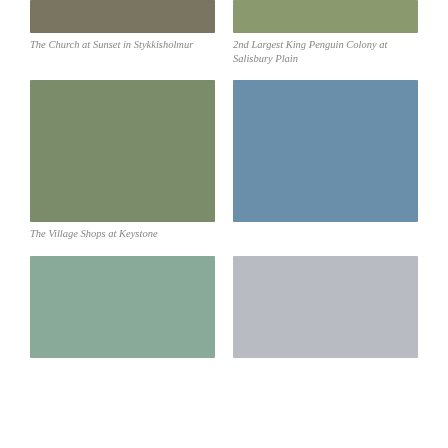[Figure (photo): The Church at Sunset in Stykkisholmur — partially visible top of photo]
[Figure (photo): 2nd Largest King Penguin Colony at Salisbury Plain — partially visible top of photo]
The Church at Sunset in Stykkisholmur
2nd Largest King Penguin Colony at Salisbury Plain
[Figure (photo): The Village Shops at Keystone — snowy ski village street scene]
[Figure (photo): Man on a boat wearing Nike cap and sunglasses with blue sea behind]
The Village Shops at Keystone
[Figure (photo): Mountain landscape with water, possibly Greenland or Arctic — partially cut off]
[Figure (photo): Tall white obelisk monument with buildings and sky — partially cut off]